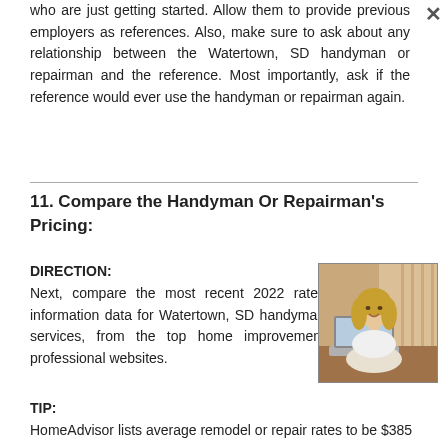who are just getting started. Allow them to provide previous employers as references. Also, make sure to ask about any relationship between the Watertown, SD handyman or repairman and the reference. Most importantly, ask if the reference would ever use the handyman or repairman again.
11. Compare the Handyman Or Repairman's Pricing:
DIRECTION:
Next, compare the most recent 2022 rates information data for Watertown, SD handyman services, from the top home improvement professional websites.
[Figure (photo): Woman with blonde hair sitting at a laptop, smiling, in a home/office setting]
TIP:
HomeAdvisor lists average remodel or repair rates to be $385